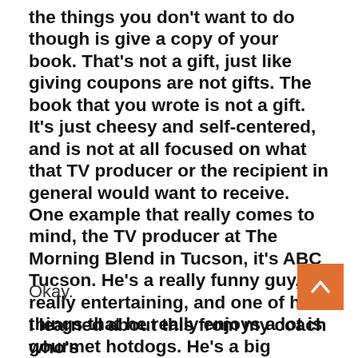the things you don't want to do though is give a copy of your book. That's not a gift, just like giving coupons are not gifts. The book that you wrote is not a gift. It's just cheesy and self-centered, and is not at all focused on what that TV producer or the recipient in general would want to receive. One example that really comes to mind, the TV producer at The Morning Blend in Tucson, it's ABC Tucson. He's a really funny guy, really entertaining, and one of his things that he really enjoys a lot is gourmet hotdogs. He's a big aficionado of hotdogs.
Okay.
I learned about this from my coach who's